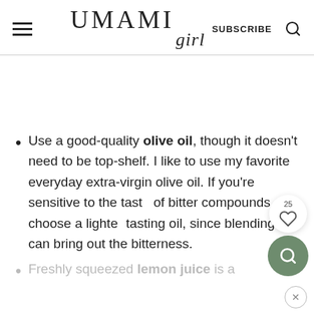UMAMI girl | SUBSCRIBE
Use a good-quality olive oil, though it doesn't need to be top-shelf. I like to use my favorite everyday extra-virgin olive oil. If you're sensitive to the taste of bitter compounds, choose a lighter tasting oil, since blending can bring out the bitterness.
Freshly squeezed lemon juice is a